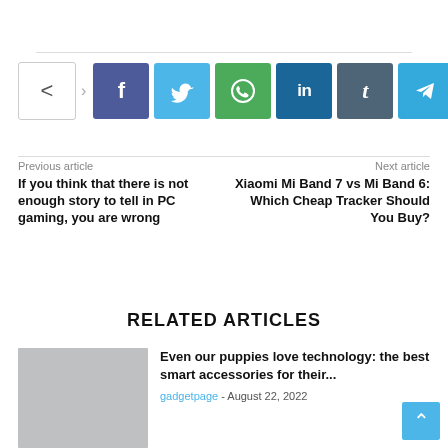[Figure (other): Social share buttons: native share icon, Facebook (f), Twitter (bird), WhatsApp (phone), LinkedIn (in), Tumblr (t), Telegram (arrow)]
Previous article
If you think that there is not enough story to tell in PC gaming, you are wrong
Next article
Xiaomi Mi Band 7 vs Mi Band 6: Which Cheap Tracker Should You Buy?
RELATED ARTICLES
[Figure (photo): Gray placeholder thumbnail image for article]
Even our puppies love technology: the best smart accessories for their...
gadgetpage - August 22, 2022